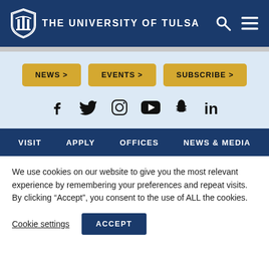THE UNIVERSITY OF TULSA
[Figure (infographic): Navigation buttons: NEWS >, EVENTS >, SUBSCRIBE > and social media icons: Facebook, Twitter, Instagram, YouTube, Snapchat, LinkedIn]
VISIT   APPLY   OFFICES   NEWS & MEDIA
We use cookies on our website to give you the most relevant experience by remembering your preferences and repeat visits. By clicking "Accept", you consent to the use of ALL the cookies.
Cookie settings   ACCEPT